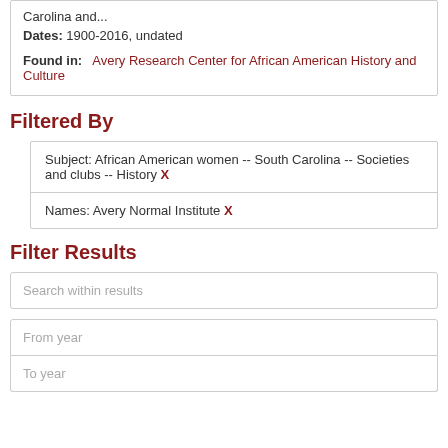Carolina and...
Dates: 1900-2016, undated
Found in: Avery Research Center for African American History and Culture
Filtered By
Subject: African American women -- South Carolina -- Societies and clubs -- History X
Names: Avery Normal Institute X
Filter Results
Search within results
From year
To year